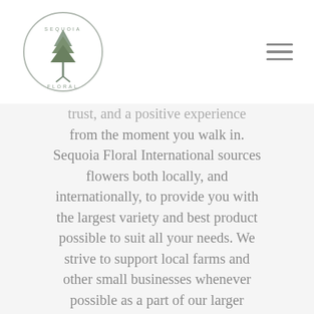Sequoia Floral [logo with navigation hamburger menu]
trust, and a positive experience from the moment you walk in. Sequoia Floral International sources flowers both locally, and internationally, to provide you with the largest variety and best product possible to suit all your needs. We strive to support local farms and other small businesses whenever possible as a part of our larger effort towards sustainability. We specialize in the most advanced post-harvest techniques to ensure